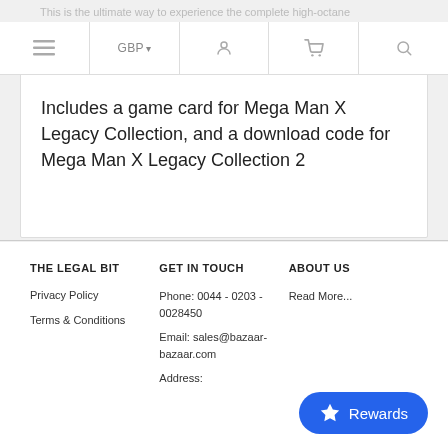This is the ultimate way to experience the complete high-octane Mega Man X Series
☰ | GBP ▾ | 👤 | 🛒 | 🔍
Includes a game card for Mega Man X Legacy Collection, and a download code for Mega Man X Legacy Collection 2
THE LEGAL BIT
GET IN TOUCH
ABOUT US
Privacy Policy
Terms & Conditions
Phone: 0044 - 0203 - 0028450
Email: sales@bazaar-bazaar.com
Address:
Read More...
Rewards